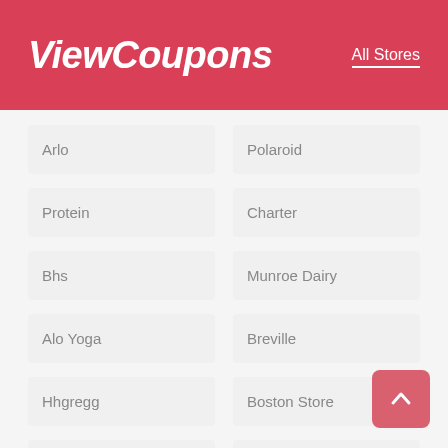ViewCoupons
All Stores
Arlo
Polaroid
Protein
Charter
Bhs
Munroe Dairy
Alo Yoga
Breville
Hhgregg
Boston Store
Tarte Cosmetics
Fisher Price
Weber
Fivebelow
4 Wheel Parts
Campmor